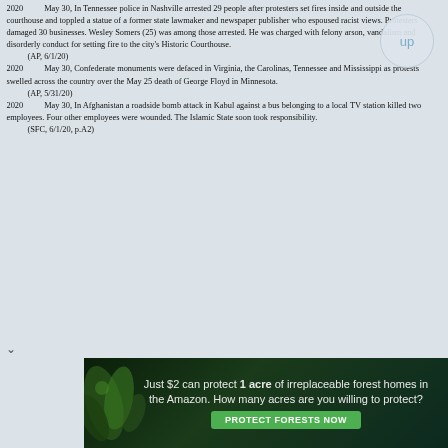2020   May 30, In Tennessee police in Nashville arrested 29 people after protesters set fires inside and outside the courthouse and toppled a statue of a former state lawmaker and newspaper publisher who espoused racist views. Protesters damaged 30 businesses. Wesley Somers (25) was among those arrested. He was charged with felony arson, vandalism and disorderly conduct for setting fire to the city's Historic Courthouse.
    (AP, 6/1/20)
2020   May 30, Confederate monuments were defaced in Virginia, the Carolinas, Tennessee and Mississippi as protests swelled across the country over the May 25 death of George Floyd in Minnesota.
    (AP, 5/31/20)
2020   May 30, In Afghanistan a roadside bomb attack in Kabul against a bus belonging to a local TV station killed two employees. Four other employees were wounded. The Islamic State soon took responsibility.
    (SFC, 6/1/20, p.A2)
[Figure (infographic): Advertisement banner: dark forest background with leaves. Text reads: 'Just $2 can protect 1 acre of irreplaceable forest homes in the Amazon. How many acres are you willing to protect?' with a green 'PROTECT FORESTS NOW' button.]